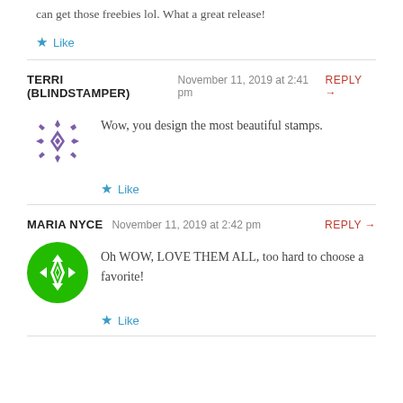can get those freebies lol. What a great release!
★ Like
TERRI (BLINDSTAMPER)  November 11, 2019 at 2:41 pm  REPLY →
Wow, you design the most beautiful stamps.
★ Like
MARIA NYCE  November 11, 2019 at 2:42 pm  REPLY →
Oh WOW, LOVE THEM ALL, too hard to choose a favorite!
★ Like